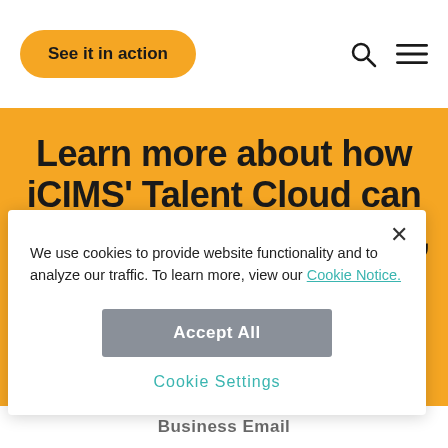See it in action
Learn more about how iCIMS' Talent Cloud can help you attract, engage, hire, and advance the best talent
We use cookies to provide website functionality and to analyze our traffic. To learn more, view our Cookie Notice.
Accept All
Cookie Settings
Business Email